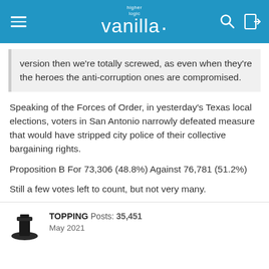higher logic vanilla
version then we're totally screwed, as even when they're the heroes the anti-corruption ones are compromised.
Speaking of the Forces of Order, in yesterday's Texas local elections, voters in San Antonio narrowly defeated measure that would have stripped city police of their collective bargaining rights.
Proposition B For 73,306 (48.8%) Against 76,781 (51.2%)
Still a few votes left to count, but not very many.
TOPPING  Posts: 35,451  May 2021